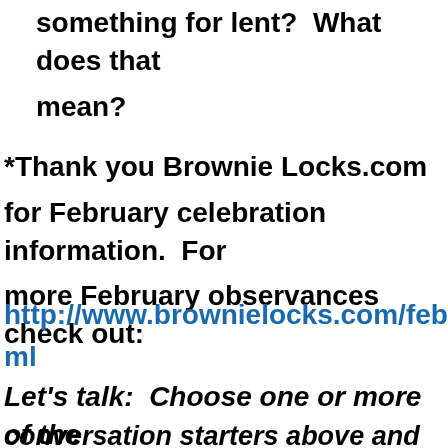something for lent?  What does that mean?
*Thank you Brownie Locks.com for February celebration information.  For more February observances check out:
http://www.brownielocks.com/february.html
Let's talk:  Choose one or more of the conversation starters above and leave